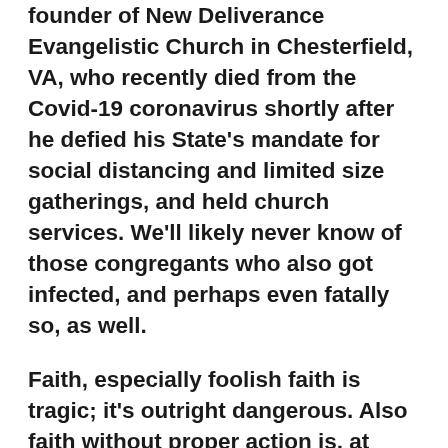founder of New Deliverance Evangelistic Church in Chesterfield, VA, who recently died from the Covid-19 coronavirus shortly after he defied his State's mandate for social distancing and limited size gatherings, and held church services. We'll likely never know of those congregants who also got infected, and perhaps even fatally so, as well.
Faith, especially foolish faith is tragic; it's outright dangerous. Also faith without proper action is, at best, worthless. Action without faith often is stupid. However faith and action together are the bookends of a full and purposeful life.
There's the very old story of the man who sits on the roof of his house while the flood waters keep rising and he keeps praying for God to help him,